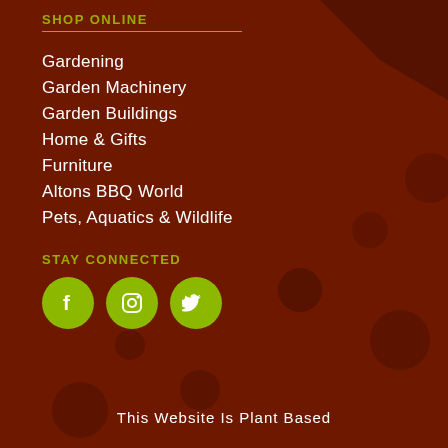SHOP ONLINE
Gardening
Garden Machinery
Garden Buildings
Home & Gifts
Furniture
Altons BBQ World
Pets, Aquatics & Wildlife
STAY CONNECTED
[Figure (illustration): Three social media icon circles (Facebook, Instagram, Twitter) in yellow-green color]
This Website Is Plant Based